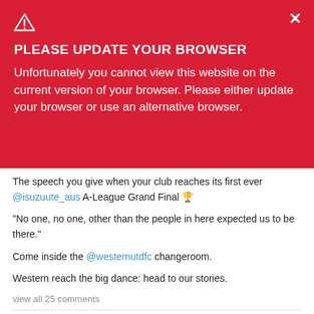[Figure (screenshot): Warning triangle icon in white on red background]
PLEASE UPDATE YOUR BROWSER
Unfortunately you cannot view this website on the current version of your browser. Please either update your browser or use an alternative browser.
The speech you give when your club reaches its first ever @isuzuute_aus A-League Grand Final 🏆
"No one, no one, other than the people in here expected us to be there."
Come inside the @westernutdfc changeroom.
Western reach the big dance: head to our stories.
view all 25 comments
Add a comment...
Feedback 💬